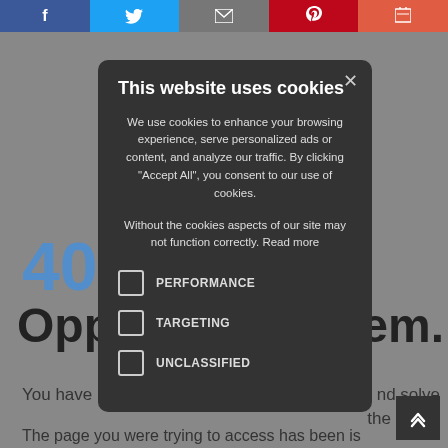[Figure (screenshot): Social sharing buttons bar at top: Facebook (blue), Twitter (light blue), Email (gray), Pinterest (red), Print (orange-red)]
This website uses cookies
We use cookies to enhance your browsing experience, serve personalized ads or content, and analyze our traffic. By clicking "Accept All", you consent to our use of cookies.
Without the cookies aspects of our site may not function correctly. Read more
PERFORMANCE
TARGETING
UNCLASSIFIED
403
Opps ... em.
You have ... nd solve the error...
The page you were trying to access has been is